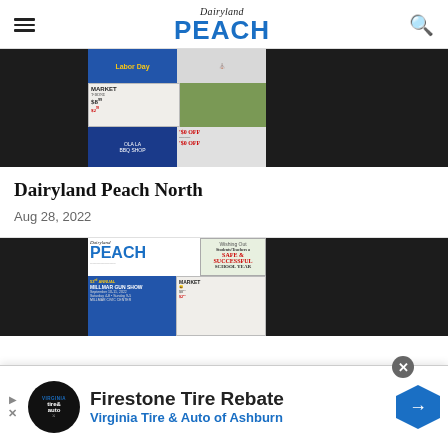Dairyland Peach
[Figure (screenshot): Thumbnail of a Dairyland Peach newspaper front page with Labor Day header, market advertisements, hunting photo, and discount offers]
Dairyland Peach North
Aug 28, 2022
[Figure (screenshot): Thumbnail of Dairyland Peach newspaper with Peach logo, Safe & Successful School Year advertisement, Millmar Gun Show, and Ackerman's Market ads]
[Figure (advertisement): Firestone Tire Rebate advertisement for Virginia Tire & Auto of Ashburn with tire & auto logo and blue direction arrow]